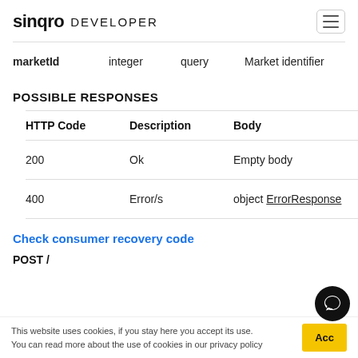sinqro DEVELOPER
|  | integer | query | Market identifier |
| --- | --- | --- | --- |
| marketId | integer | query | Market identifier |
POSSIBLE RESPONSES
| HTTP Code | Description | Body |
| --- | --- | --- |
| 200 | Ok | Empty body |
| 400 | Error/s | object ErrorResponse |
Check consumer recovery code
POST /...
This website uses cookies, if you stay here you accept its use. You can read more about the use of cookies in our privacy policy